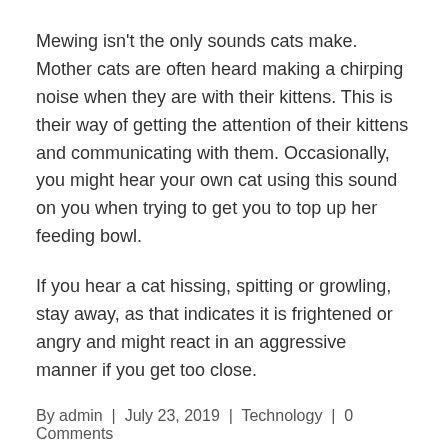Mewing isn't the only sounds cats make. Mother cats are often heard making a chirping noise when they are with their kittens. This is their way of getting the attention of their kittens and communicating with them. Occasionally, you might hear your own cat using this sound on you when trying to get you to top up her feeding bowl.
If you hear a cat hissing, spitting or growling, stay away, as that indicates it is frightened or angry and might react in an aggressive manner if you get too close.
By admin | July 23, 2019 | Technology | 0 Comments